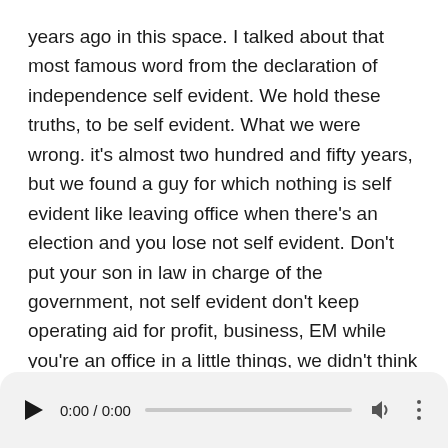years ago in this space. I talked about that most famous word from the declaration of independence self evident. We hold these truths, to be self evident. What we were wrong. it's almost two hundred and fifty years, but we found a guy for which nothing is self evident like leaving office when there's an election and you lose not self evident. Don't put your son in law in charge of the government, not self evident don't keep operating aid for profit, business, EM while you're an office in a little things, we didn't think we had to write down release. Your taxes get your cabinet confirmed,
use the White House for a partisan convention don't accept foreign help in an election care, for all the states, not
[Figure (other): Audio player bar showing play button, time 0:00 / 0:00, progress track, volume icon, and more options dots]